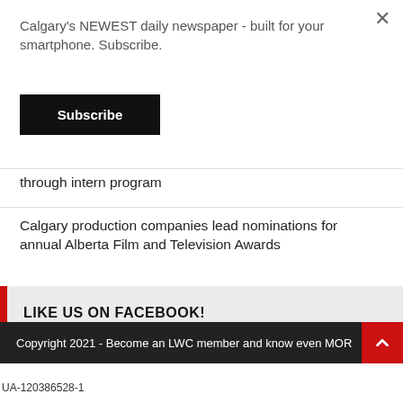Calgary's NEWEST daily newspaper - built for your smartphone. Subscribe.
Subscribe
through intern program
Calgary production companies lead nominations for annual Alberta Film and Television Awards
LIKE US ON FACEBOOK!
Copyright 2021 - Become an LWC member and know even MOR
UA-120386528-1